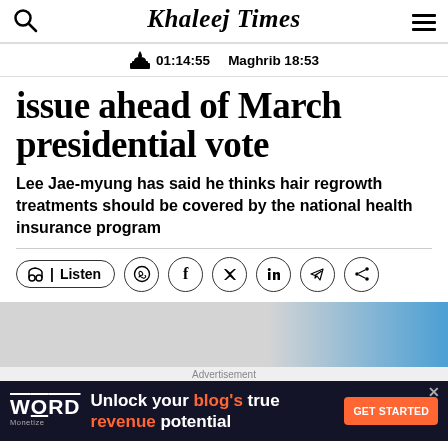Khaleej Times | 01:14:55 | Maghrib 18:53
issue ahead of March presidential vote
Lee Jae-myung has said he thinks hair regrowth treatments should be covered by the national health insurance program
[Figure (photo): Partial photo visible at bottom of article area]
Advertisement
[Figure (infographic): Word Monetize advertisement banner: Unlock your blog's true revenue potential - GET STARTED]